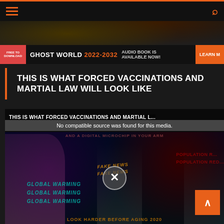Navigation bar with hamburger menu and search icon
[Figure (photo): Website header hero image with dark/orange tones]
[Figure (photo): Advertisement banner: FREE TO DOWNLOAD - GHOST WORLD 2022-2032 - AUDIO BOOK IS AVAILABLE NOW! - LEARN MORE]
THIS IS WHAT FORCED VACCINATIONS AND MARTIAL LAW WILL LOOK LIKE
[Figure (screenshot): Video player showing conspiracy collage image with text overlays: THIS IS WHAT FORCED VACCINATIONS AND MARTIAL LAW - AND A DIGITAL MICROCHIP IN YOUR ARM - FAKE NEWS labels - POPULATION REDUCTION labels - GLOBAL WARMING labels. No compatible source was found for this media. Features figures of a girl, a man, and an older man.]